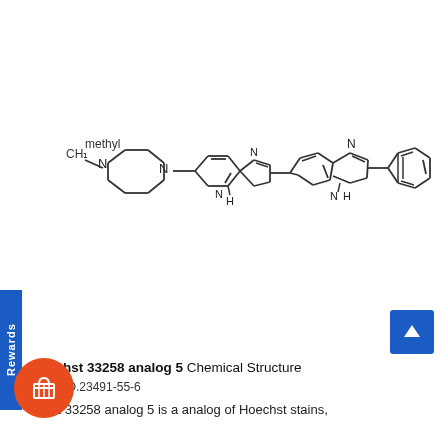[Figure (schematic): Chemical structure of Hoechst 33258 analog 5, showing three connected ring systems: a piperazine ring with N-methyl group on the left, connected to a benzimidazole in the center-left, connected to another benzimidazole in the center-right, connected to a naphthalene ring on the right. NH groups shown between benzimidazole rings.]
Hoechst 33258 analog 5 Chemical Structure
CAS NO.23491-55-6
echst 33258 analog 5 is a analog of Hoechst stains,